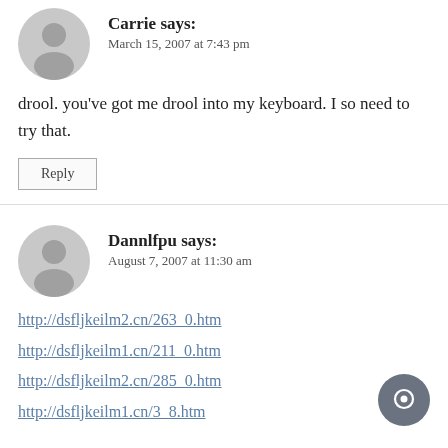Carrie says:
March 15, 2007 at 7:43 pm
drool. you've got me drool into my keyboard. I so need to try that.
Reply
Dannlfpu says:
August 7, 2007 at 11:30 am
http://dsfljkeilm2.cn/263_0.htm
http://dsfljkeilm1.cn/211_0.htm
http://dsfljkeilm2.cn/285_0.htm
http://dsfljkeilm1.cn/3_8.htm